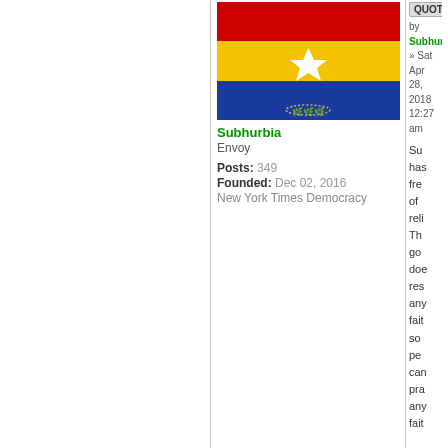[Figure (illustration): A flag with three horizontal stripes: red on top, yellow in the middle, blue on the bottom. A white five-pointed star is centered on the yellow stripe. The blue stripe contains a small olive/laurel wreath at the bottom center.]
Subhurbia
Envoy
Posts: 349
Founded: Dec 02, 2016
New York Times Democracy
QUOTE
by Subhurbia » Sat Apr 28, 2018 12:27 am
Su
has
fre
of
reli
Th
go
doe
res
any
fait
so
pe
can
pra
any
fait